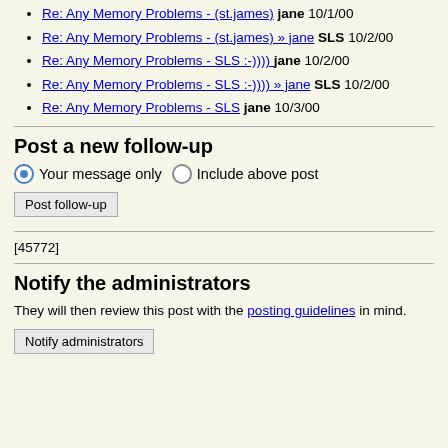Re: Any Memory Problems - (st.james) jane 10/1/00
Re: Any Memory Problems - (st.james) » jane SLS 10/2/00
Re: Any Memory Problems - SLS :-))))  jane 10/2/00
Re: Any Memory Problems - SLS :-))))  » jane SLS 10/2/00
Re: Any Memory Problems - SLS jane 10/3/00
Post a new follow-up
Your message only   Include above post
Post follow-up
[45772]
Notify the administrators
They will then review this post with the posting guidelines in mind.
Notify administrators